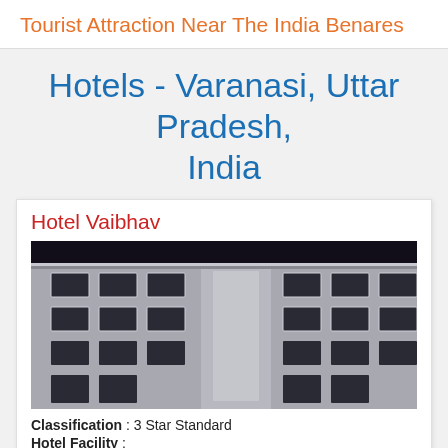Tourist Attraction Near The India Benares
Hotels - Varanasi, Uttar Pradesh, India
Hotel Vaibhav
[Figure (photo): Night photograph of Hotel Vaibhav building facade showing a multi-storey white building with rectangular windows arranged in a grid pattern, taken at night with dark sky]
Classification : 3 Star Standard
Hotel Facility :